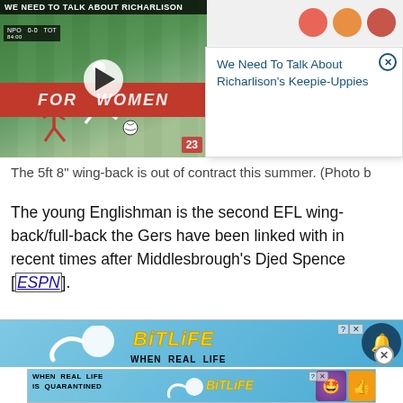[Figure (screenshot): Video thumbnail showing a soccer match with 'WE NEED TO TALK ABOUT RICHARLISON' title overlay, alongside a popup panel reading 'We Need To Talk About Richarlison's Keepie-Uppies' with a close button]
The 5ft 8" wing-back is out of contract this summer. (Photo b
The young Englishman is the second EFL wing-back/full-back the Gers have been linked with in recent times after Middlesbrough's Djed Spence [ESPN].
[Figure (screenshot): BitLife mobile game advertisement banner - 'WHEN REAL LIFE' text with sperm logo and BitLife logo in yellow, with bell notification button and close button]
[Figure (screenshot): Second BitLife advertisement: 'WHEN REAL LIFE IS QUARANTINED' with BitLife logo and star-eyes emoji character]